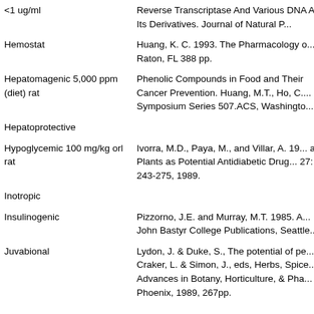| Activity/Property | Reference |
| --- | --- |
| <1 ug/ml | Reverse Transcriptase And Various DNA And Its Derivatives. Journal of Natural P... |
| Hemostat | Huang, K. C. 1993. The Pharmacology o... Raton, FL 388 pp. |
| Hepatomagenic 5,000 ppm (diet) rat | Phenolic Compounds in Food and Their Cancer Prevention. Huang, M.T., Ho, C..... Symposium Series 507.ACS, Washingto... |
| Hepatoprotective |  |
| Hypoglycemic 100 mg/kg orl rat | Ivorra, M.D., Paya, M., and Villar, A. 19... and Plants as Potential Antidiabetic Drug... 27: 243-275, 1989. |
| Inotropic |  |
| Insulinogenic | Pizzorno, J.E. and Murray, M.T. 1985. A... John Bastyr College Publications, Seattle... |
| Juvabional | Lydon, J. & Duke, S., The potential of pe... Craker, L. & Simon, J., eds, Herbs, Spice... Advances in Botany, Horticulture, & Pha... Phoenix, 1989, 267pp.
Lydon, J. & Duke, S., The potential of pe... Craker, L. & Simon, J., eds, Herbs, Spice... Advances in Botany, Horticulture, & Pha... Phoenix, 1989, 267pp. |
| Larvistat 8,000 ppm diet | Lydon, J. & Duke, S., The potential of pe... Craker, L. & Simon, J., eds, Herbs, Spice... Advances in Botany, Horticulture, & Pha... Phoenix, 1989, 267pp. |
| Lipoxygenase-Inhibitor IC11 1.25 uM... | Oszmianski, J. and Lee, C.Y. 1990. Inhib... Craxtary Dhanalytic Vagatables I... |